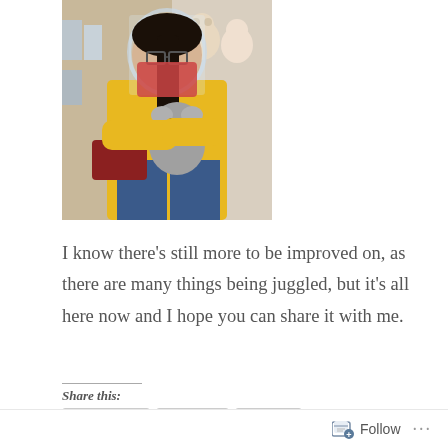[Figure (photo): A woman wearing a yellow t-shirt, face mask, and face shield holds a koala stuffed animal toy in a shop with shelves of plush toys in the background. She also carries a red/maroon crossbody bag.]
I know there’s still more to be improved on, as there are many things being juggled, but it’s all here now and I hope you can share it with me.
Share this: